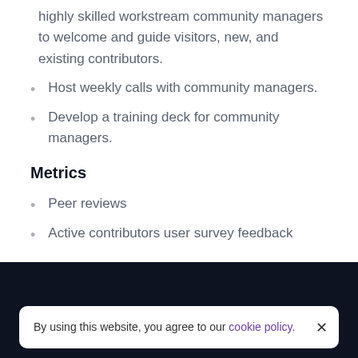highly skilled workstream community managers to welcome and guide visitors, new, and existing contributors.
Host weekly calls with community managers.
Develop a training deck for community managers.
Metrics
Peer reviews
Active contributors user survey feedback
By using this website, you agree to our cookie policy.